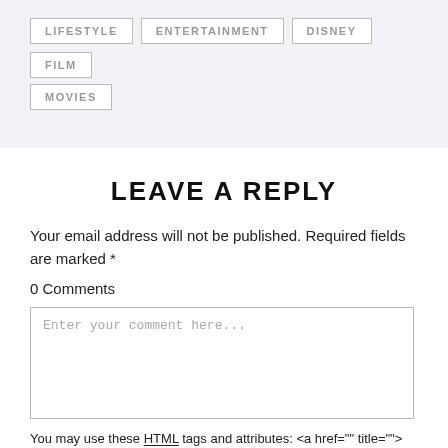LIFESTYLE
ENTERTAINMENT
DISNEY
FILM
MOVIES
LEAVE A REPLY
Your email address will not be published. Required fields are marked *
0 Comments
Enter your comment here...
You may use these HTML tags and attributes: <a href="" title=""> <abbr title=""> <acronym title=""> <b> <blockquote cite=""> <cite> <code> <del datetime="">